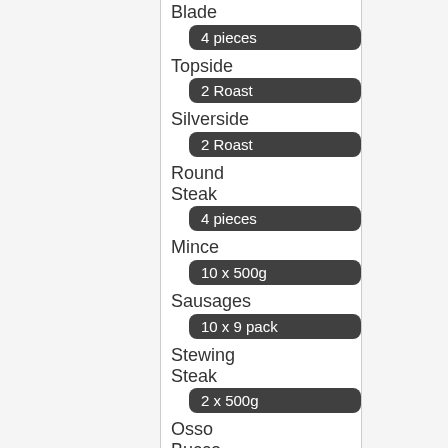Blade — 4 pieces
Topside — 2 Roast
Silverside — 2 Roast
Round Steak — 4 pieces
Mince — 10 x 500g
Sausages — 10 x 9 pack
Stewing Steak — 2 x 500g
Osso Bucco — 2 x 500g
Blade Steak — 2 x 500g
25kg @ $25.50/kg